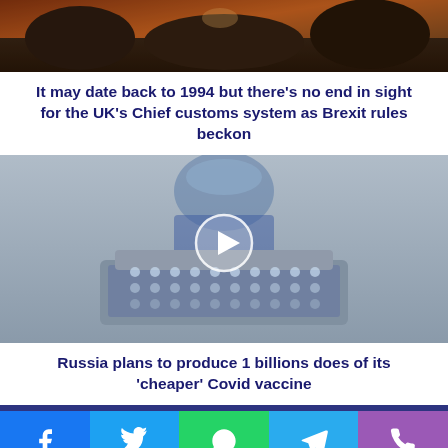[Figure (photo): Dark dramatic landscape with rocks and stormy sky, top of page]
It may date back to 1994 but there's no end in sight for the UK's Chief customs system as Brexit rules beckon
[Figure (photo): Person in blue scrubs and surgical mask holding a tray of vaccine vials, with a white circular play button overlay]
Russia plans to produce 1 billions does of its 'cheaper' Covid vaccine
[Figure (infographic): Social media sharing bar with Facebook, Twitter, WhatsApp, Telegram, and phone icons]